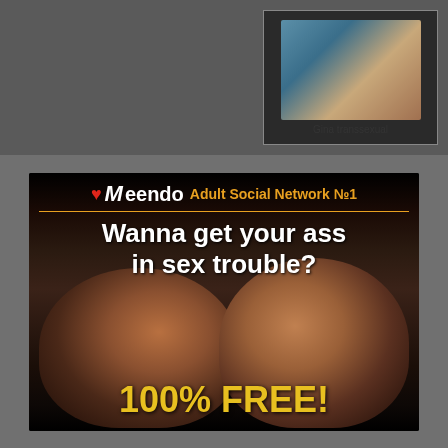[Figure (photo): Thumbnail photo in top-right area of a page showing two people near a pool, labeled 'Gina transsexual']
Gina transsexual
[Figure (advertisement): Meendo Adult Social Network No.1 banner ad with text 'Wanna get your ass in sex trouble?' and '100% FREE!' featuring two men facing each other]